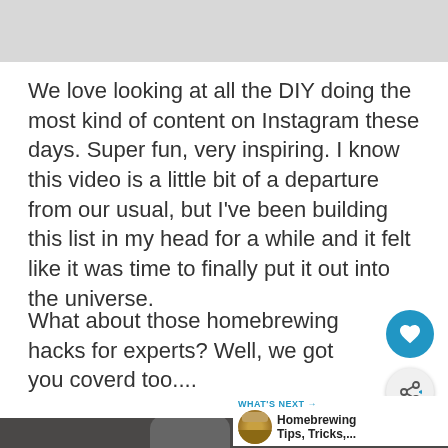[Figure (photo): Gray/white horizontal image bar at top of page]
We love looking at all the DIY doing the most kind of content on Instagram these days. Super fun, very inspiring. I know this video is a little bit of a departure from our usual, but I've been building this list in my head for a while and it felt like it was time to finally put it out into the universe.
What about those homebrewing hacks for experts? Well, we got you coverd too....
[Figure (screenshot): Video thumbnail showing a bald man with glasses, large white numbers 1 and 5 visible, with a 'WHAT'S NEXT' banner showing 'Homebrewing Tips, Tricks,...']